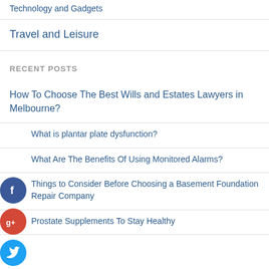Technology and Gadgets
Travel and Leisure
RECENT POSTS
How To Choose The Best Wills and Estates Lawyers in Melbourne?
What is plantar plate dysfunction?
What Are The Benefits Of Using Monitored Alarms?
Things to Consider Before Choosing a Basement Foundation Repair Company
Prostate Supplements To Stay Healthy